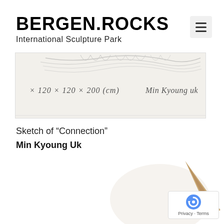BERGEN.ROCKS
International Sculpture Park
[Figure (photo): Sketch of a sculpture with handwritten text: × 120 × 120 × 200 (cm)  Min Kyoung uk]
Sketch of “Connection”
Min Kyoung Uk
[Figure (photo): Close-up photo of a pencil or pen tip, tan/bronze colored, against a white background]